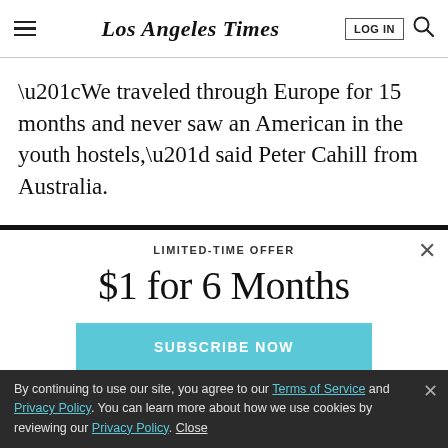Los Angeles Times
“We traveled through Europe for 15 months and never saw an American in the youth hostels,” said Peter Cahill from Australia.
LIMITED-TIME OFFER
$1 for 6 Months
SUBSCRIBE NOW
By continuing to use our site, you agree to our Terms of Service and Privacy Policy. You can learn more about how we use cookies by reviewing our Privacy Policy. Close